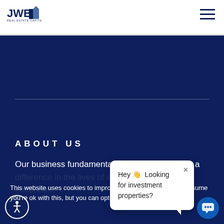[Figure (logo): JWB Real Estate Capital logo with building icon]
[Figure (illustration): Hamburger menu icon (three horizontal navy lines)]
ABOUT US
Our business fundamentals are built on making a difference in the lives of every individual we encounter.
This website uses cookies to improve your experience. We'll assume you're ok with this, but you can opt-out if you wish.
Hey 👋 Looking for investment properties?
[Figure (illustration): Chat bubble icon with ellipsis dots]
[Figure (illustration): Accessibility icon (person in circle)]